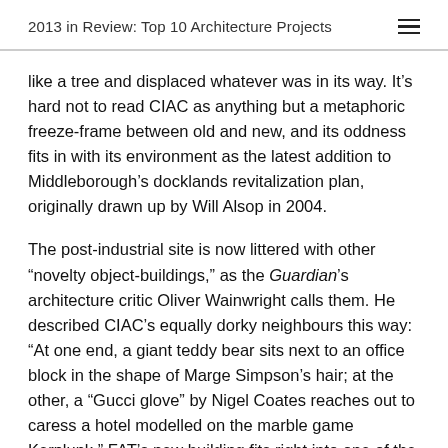2013 in Review: Top 10 Architecture Projects
like a tree and displaced whatever was in its way. It’s hard not to read CIAC as anything but a metaphoric freeze-frame between old and new, and its oddness fits in with its environment as the latest addition to Middleborough’s docklands revitalization plan, originally drawn up by Will Alsop in 2004.
The post-industrial site is now littered with other “novelty object-buildings,” as the Guardian’s architecture critic Oliver Wainwright calls them. He described CIAC’s equally dorky neighbours this way: “At one end, a giant teddy bear sits next to an office block in the shape of Marge Simpson’s hair; at the other, a “Gucci glove” by Nigel Coates reaches out to caress a hotel modelled on the marble game Kerplunk.” FAT’s new building fits right into one of the most novel urban villages to be built in decades.